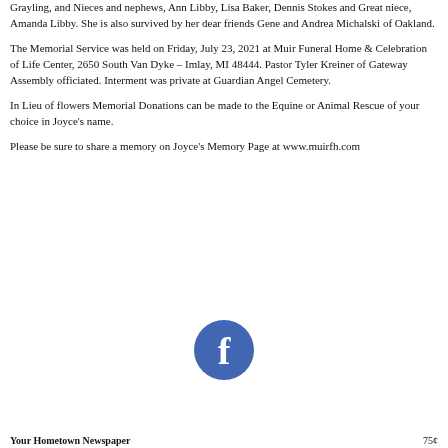Grayling, and Nieces and nephews, Ann Libby, Lisa Baker, Dennis Stokes and Great niece, Amanda Libby. She is also survived by her dear friends Gene and Andrea Michalski of Oakland.
The Memorial Service was held on Friday, July 23, 2021 at Muir Funeral Home & Celebration of Life Center, 2650 South Van Dyke – Imlay, MI 48444. Pastor Tyler Kreiner of Gateway Assembly officiated. Interment was private at Guardian Angel Cemetery.
In Lieu of flowers Memorial Donations can be made to the Equine or Animal Rescue of your choice in Joyce's name.
Please be sure to share a memory on Joyce's Memory Page at www.muirfh.com
[Figure (logo): Facebook logo — blue circle with white lowercase f]
Your Hometown Newspaper   75¢